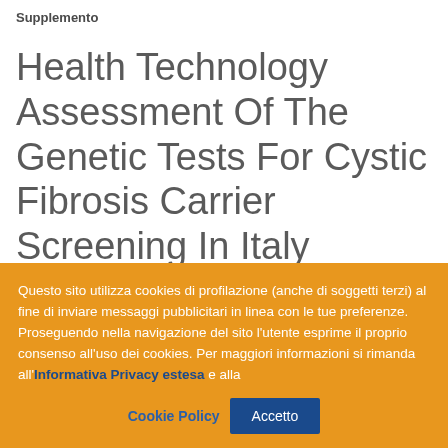Supplemento
Health Technology Assessment Of The Genetic Tests For Cystic Fibrosis Carrier Screening In Italy
Questo sito utilizza cookies di profilazione (anche di soggetti terzi) al fine di inviare messaggi pubblicitari in linea con le tue preferenze. Proseguendo nella navigazione del sito l’utente esprime il proprio consenso all'uso dei cookies. Per maggiori informazioni si rimanda all’Informativa Privacy estesa e alla Cookie Policy
Accetto